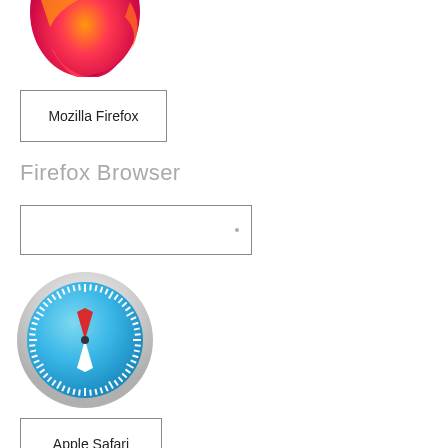[Figure (logo): Mozilla Firefox browser logo — gradient flame and fox icon, partially cropped at top]
Mozilla Firefox
Firefox Browser
[Figure (screenshot): Empty search/input box with a small dot near the right side]
[Figure (logo): Apple Safari browser logo — compass with blue gradient background, red and white compass needle, white tick marks around the edge, circular silver bezel]
Apple Safari